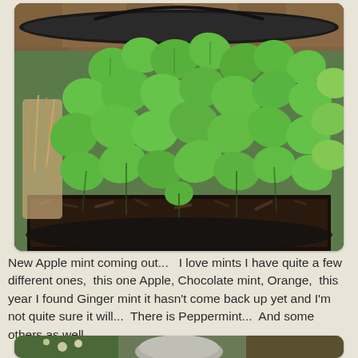[Figure (photo): A large hanging basket or round planter filled with lush green apple mint plants with round textured leaves, set against a wooden fence backdrop. Dark soil visible at the base with some dried plant material visible on the left side.]
New Apple mint coming out...   I love mints I have quite a few different ones,  this one Apple, Chocolate mint, Orange,  this year I found Ginger mint it hasn't come back up yet and I'm not quite sure it will...  There is Peppermint...  And some others as well...
[Figure (photo): A garden scene showing a stone or concrete garden ornament (possibly a turtle or similar figure) surrounded by plants and soil.]